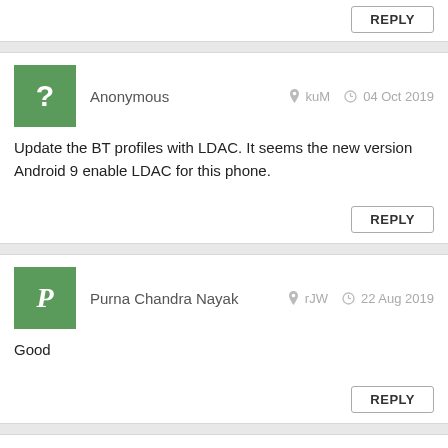REPLY
Anonymous kuM 04 Oct 2019
Update the BT profiles with LDAC. It seems the new version Android 9 enable LDAC for this phone.
REPLY
Purna Chandra Nayak rJW 22 Aug 2019
Good
REPLY